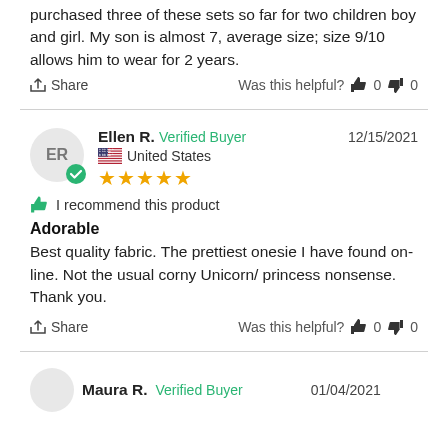purchased three of these sets so far for two children boy and girl. My son is almost 7, average size; size 9/10 allows him to wear for 2 years.
Share   Was this helpful?  👍 0  👎 0
Ellen R.  Verified Buyer   12/15/2021
United States
★★★★★
👍 I recommend this product
Adorable
Best quality fabric. The prettiest onesie I have found on-line. Not the usual corny Unicorn/ princess nonsense.  Thank you.
Share   Was this helpful?  👍 0  👎 0
Maura R.  Verified Buyer   01/04/2021